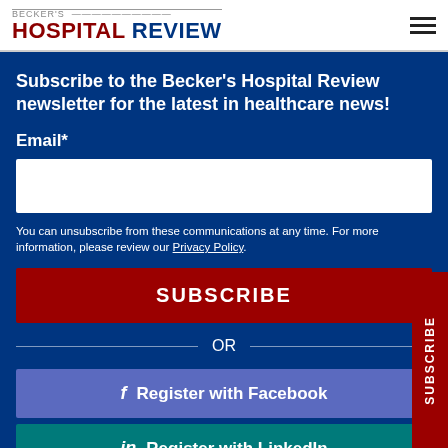BECKER'S HOSPITAL REVIEW
Subscribe to the Becker's Hospital Review newsletter for the latest in healthcare news!
Email*
You can unsubscribe from these communications at any time. For more information, please review our Privacy Policy.
SUBSCRIBE
OR
f  Register with Facebook
in  Register with LinkedIn